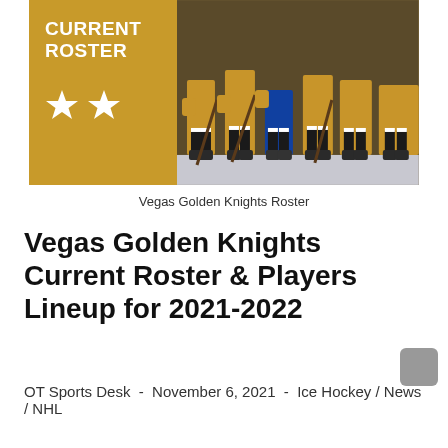[Figure (photo): Vegas Golden Knights hockey team roster photo showing players in golden uniforms standing on ice, with a gold panel on the left displaying 'CURRENT ROSTER' text and two white stars]
Vegas Golden Knights Roster
Vegas Golden Knights Current Roster & Players Lineup for 2021-2022
OT Sports Desk  -  November 6, 2021  -  Ice Hockey / News / NHL